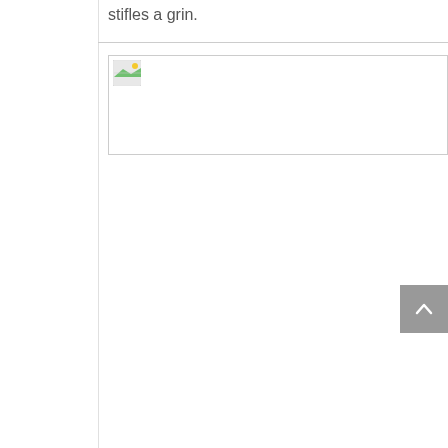stifles a grin.
[Figure (photo): Broken/missing image placeholder with small icon (white square with green and landscape icon) inside a bordered container]
[Figure (other): Scroll-to-top button: grey square with upward-pointing caret/chevron icon]